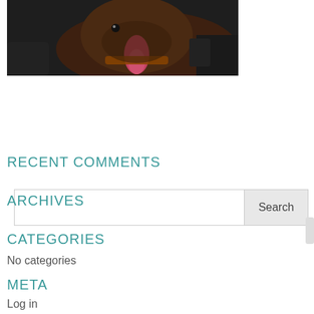[Figure (photo): Partial photo of a dog with open mouth and collar, being held by human hands, dark background]
Search
RECENT COMMENTS
ARCHIVES
CATEGORIES
No categories
META
Log in
Entries feed